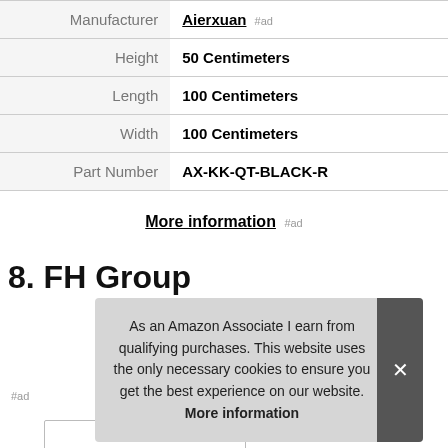|  |  |
| --- | --- |
| Manufacturer | Aierxuan |
| Height | 50 Centimeters |
| Length | 100 Centimeters |
| Width | 100 Centimeters |
| Part Number | AX-KK-QT-BLACK-R |
More information #ad
8. FH Group
As an Amazon Associate I earn from qualifying purchases. This website uses the only necessary cookies to ensure you get the best experience on our website. More information